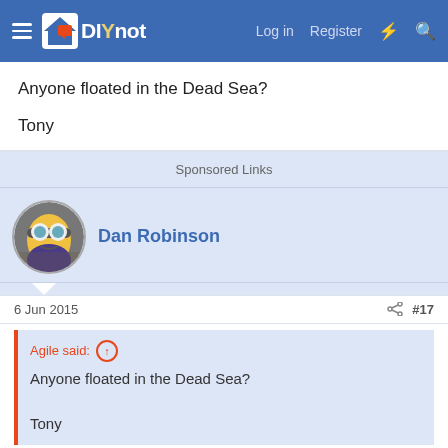DIYnot — Log in  Register
Anyone floated in the Dead Sea?

Tony
Sponsored Links
Dan Robinson
6 Jun 2015  #17
Agile said:
Anyone floated in the Dead Sea?

Tony
I have in the Red Sea